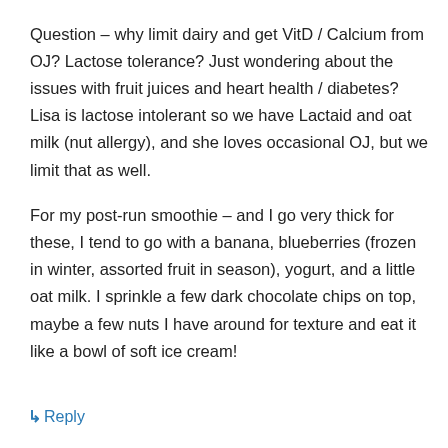Question – why limit dairy and get VitD / Calcium from OJ? Lactose tolerance? Just wondering about the issues with fruit juices and heart health / diabetes? Lisa is lactose intolerant so we have Lactaid and oat milk (nut allergy), and she loves occasional OJ, but we limit that as well.
For my post-run smoothie – and I go very thick for these, I tend to go with a banana, blueberries (frozen in winter, assorted fruit in season), yogurt, and a little oat milk. I sprinkle a few dark chocolate chips on top, maybe a few nuts I have around for texture and eat it like a bowl of soft ice cream!
↳ Reply